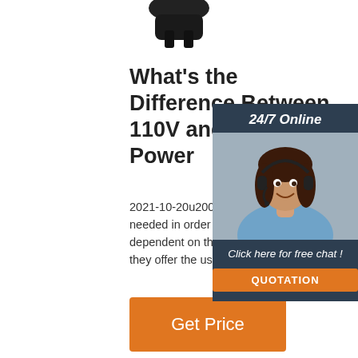[Figure (photo): Partial view of a black electrical plug/connector against a white background, cropped at top.]
What's the Difference Between 110V and 240V Power
2021-10-20u2002·u2002110V tools are designed for heavy-duty site use, however, a transformer is needed in order for them to operate. The different voltage levels are in most cases simply dependent on the electricity network you are connected to. 110V power tools are used on sites as they offer the user more safety in the event of an accident such as a cable being cut.
[Figure (photo): Customer service representative (woman with headset) overlaid on dark teal panel with '24/7 Online' header, 'Click here for free chat!' text, and orange QUOTATION button.]
Get Price